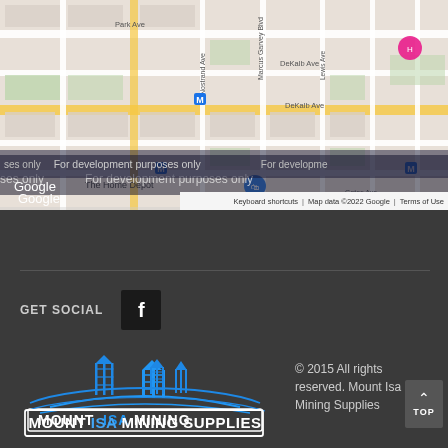[Figure (map): Google Maps screenshot showing street map of Brooklyn area including The Home Depot, Herbert Von, Sumner Houses, DeKalb Ave, Park Ave, Marcus Garvey Blvd, Lewis Ave, Gates Ave. Watermark reads 'For development purposes only'. Map data ©2022 Google. Keyboard shortcuts. Terms of Use.]
[Figure (logo): Mount Isa Mining Supplies logo with mining tower silhouette illustration]
GET SOCIAL
© 2015 All rights reserved. Mount Isa Mining Supplies